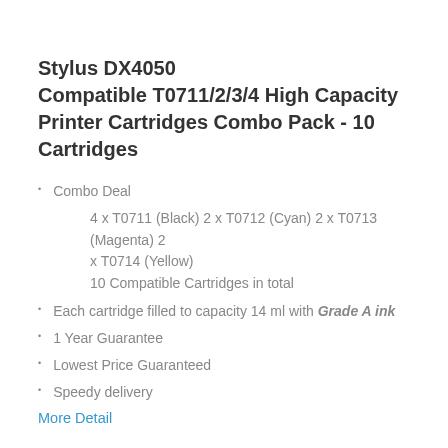Stylus DX4050 Compatible T0711/2/3/4 High Capacity Printer Cartridges Combo Pack - 10 Cartridges
Combo Deal
4 x T0711 (Black) 2 x T0712 (Cyan) 2 x T0713 (Magenta) 2 x T0714 (Yellow)
10 Compatible Cartridges in total
Each cartridge filled to capacity 14 ml with Grade A ink
1 Year Guarantee
Lowest Price Guaranteed
Speedy delivery
More Detail